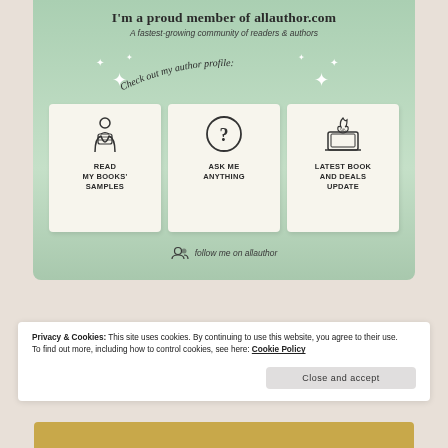[Figure (infographic): AllAuthor promotional banner with green background showing three white cards: 'Read My Books' Samples' (person reading icon), 'Ask Me Anything' (question mark circle icon), 'Latest Book and Deals Update' (laptop with fire icon). Curved text 'Check out my author profile:' at top. 'follow me on allauthor' at bottom with user icon. Title: 'I'm a proud member of allauthor.com'. Subtitle: 'A fastest-growing community of readers & authors'.]
Privacy & Cookies: This site uses cookies. By continuing to use this website, you agree to their use. To find out more, including how to control cookies, see here: Cookie Policy
Close and accept